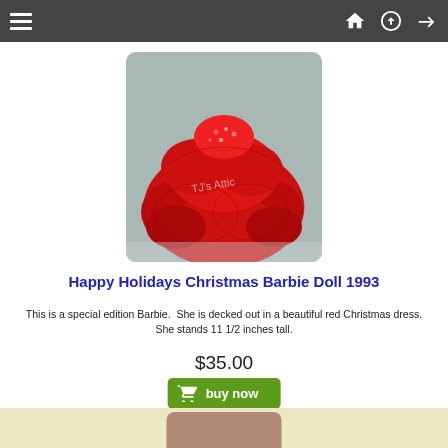Navigation bar with hamburger menu and icons
[Figure (photo): Close-up photo of a Happy Holidays Barbie doll wearing a sparkly red Christmas gown with ruffled tulle layers, watermarked 'TJ's Attic']
Happy Holidays Christmas Barbie Doll 1993
This is a special edition Barbie. She is decked out in a beautiful red Christmas dress. She stands 11 1/2 inches tall.
$35.00
[Figure (other): Green 'buy now' button with shopping cart icon]
[Figure (photo): Partial view of the next product listing on a beige/tan background]